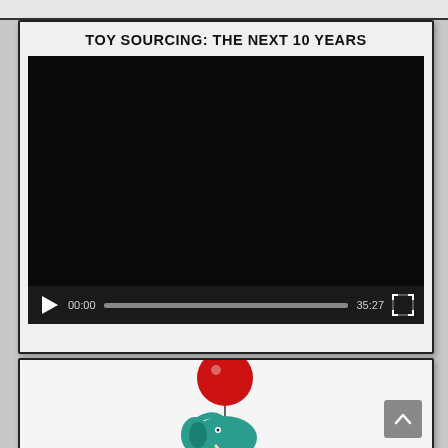TOY SOURCING: THE NEXT 10 YEARS
[Figure (screenshot): Embedded video player with black screen showing duration 35:27, paused at 00:00, with play button, progress bar, and fullscreen icon on dark controls bar.]
[Figure (logo): Partial view of a logo showing a teal/blue elephant holding a red balloon with its trunk, with a scroll-up arrow button in the bottom right corner.]